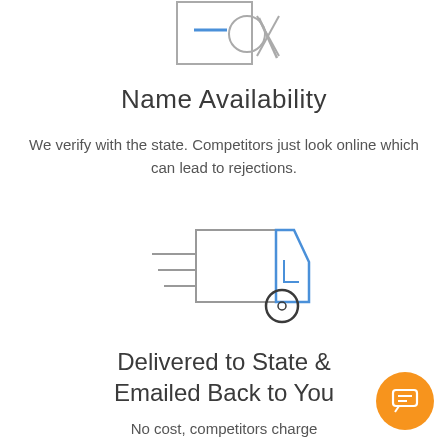[Figure (illustration): Name availability icon showing a document with a search/magnifying glass and an X mark, in gray and blue outline style]
Name Availability
We verify with the state. Competitors just look online which can lead to rejections.
[Figure (illustration): Delivery truck icon in blue and gray outline style, with motion lines on the left side indicating speed]
Delivered to State & Emailed Back to You
No cost, competitors charge